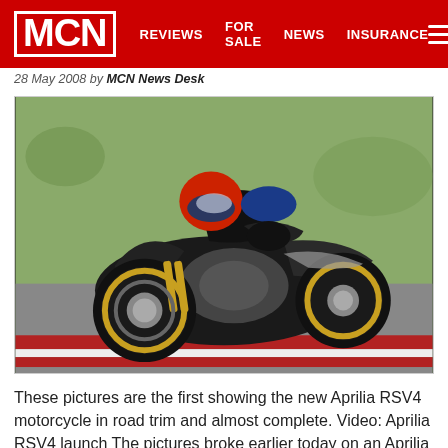MCN | REVIEWS | FOR SALE | NEWS | INSURANCE
28 May 2008 by MCN News Desk
[Figure (photo): A motorcycle racer on an Aprilia RSV4 leaning into a corner on a race track, with gold wheels visible and green grass in the background. The rider wears a red and blue helmet.]
These pictures are the first showing the new Aprilia RSV4 motorcycle in road trim and almost complete. Video: Aprilia RSV4 launch The pictures broke earlier today on an Aprilia Motorcycle forum, and...